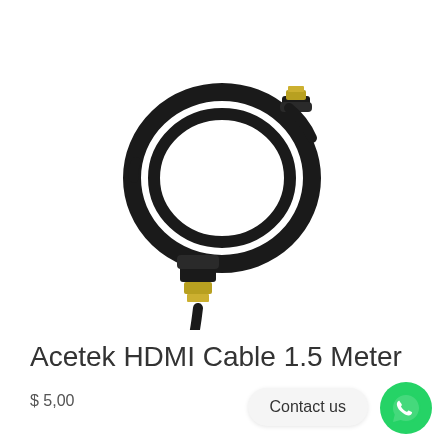[Figure (photo): Black HDMI cable coiled in a loop with gold-tipped connectors at both ends, photographed on white background.]
Acetek HDMI Cable 1.5 Meter
$ 5,00
Contact us
[Figure (logo): WhatsApp logo: green circle with white phone/chat icon.]